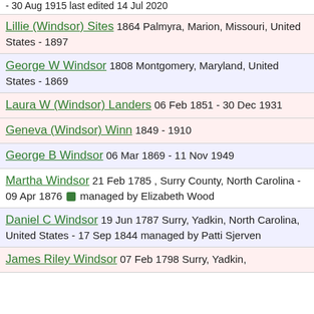- 30 Aug 1915 last edited 14 Jul 2020
Lillie (Windsor) Sites 1864 Palmyra, Marion, Missouri, United States - 1897
George W Windsor 1808 Montgomery, Maryland, United States - 1869
Laura W (Windsor) Landers 06 Feb 1851 - 30 Dec 1931
Geneva (Windsor) Winn 1849 - 1910
George B Windsor 06 Mar 1869 - 11 Nov 1949
Martha Windsor 21 Feb 1785 , Surry County, North Carolina - 09 Apr 1876 managed by Elizabeth Wood
Daniel C Windsor 19 Jun 1787 Surry, Yadkin, North Carolina, United States - 17 Sep 1844 managed by Patti Sjerven
James Riley Windsor 07 Feb 1798 Surry, Yadkin,